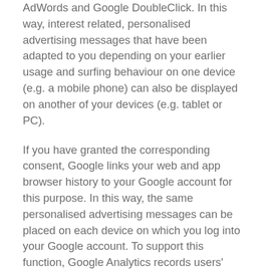AdWords and Google DoubleClick. In this way, interest related, personalised advertising messages that have been adapted to you depending on your earlier usage and surfing behaviour on one device (e.g. a mobile phone) can also be displayed on another of your devices (e.g. tablet or PC).
If you have granted the corresponding consent, Google links your web and app browser history to your Google account for this purpose. In this way, the same personalised advertising messages can be placed on each device on which you log into your Google account. To support this function, Google Analytics records users' Google-authenticated IDs, which are temporarily linked to our Google Analytics data in order to define and create target groups for the cross-device advertising.
The data recorded in your Google account is aggregated on the basis of your consent, which you can give to